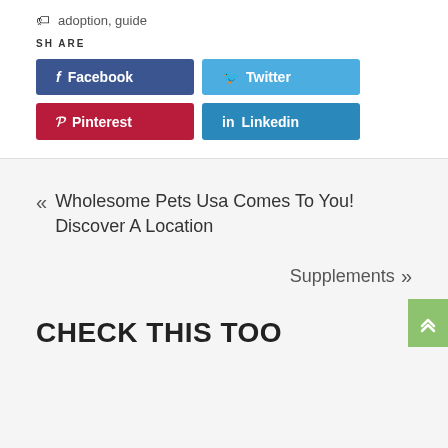adoption, guide
SHARE
[Figure (infographic): Social share buttons: Facebook (dark blue), Twitter (light blue), Pinterest (red), Linkedin (blue)]
« Wholesome Pets Usa Comes To You! Discover A Location
Supplements »
CHECK THIS TOO